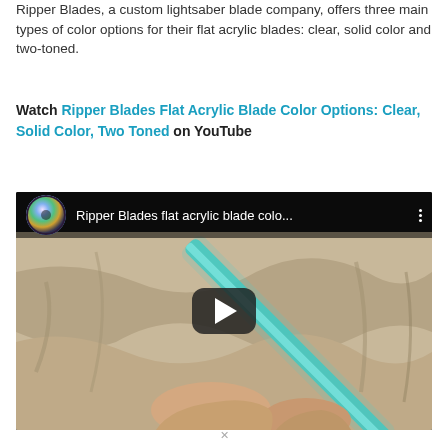Ripper Blades, a custom lightsaber blade company, offers three main types of color options for their flat acrylic blades: clear, solid color and two-toned.
Watch Ripper Blades Flat Acrylic Blade Color Options: Clear, Solid Color, Two Toned on YouTube
[Figure (screenshot): YouTube video thumbnail showing 'Ripper Blades flat acrylic blade colo...' with a lightsaber blade being held over a cloth background, with a play button overlay.]